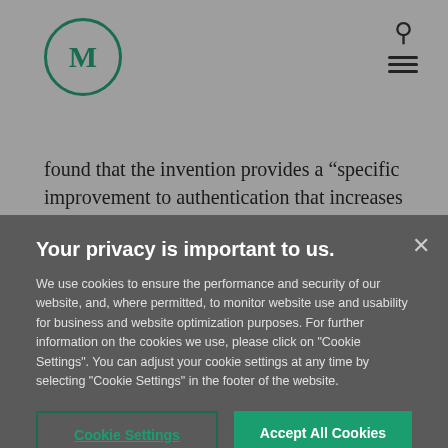[Figure (logo): Circular logo with letter M in dark green]
found that the invention provides a “specific improvement to authentication that increases security, prevents unauthorized access by a third party, is easily implemented, and can
Your privacy is important to us.
We use cookies to ensure the performance and security of our website, and, where permitted, to monitor website use and usability for business and website optimization purposes. For further information on the cookies we use, please click on "Cookie Settings". You can adjust your cookie settings at any time by selecting "Cookie Settings" in the footer of the website.
Cookie Settings
Accept All Cookies